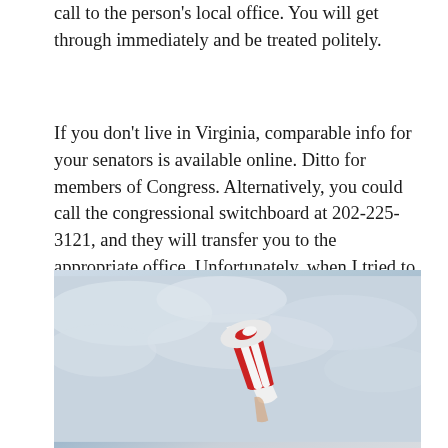call to the person's local office. You will get through immediately and be treated politely.
If you don't live in Virginia, comparable info for your senators is available online. Ditto for members of Congress. Alternatively, you could call the congressional switchboard at 202-225-3121, and they will transfer you to the appropriate office. Unfortunately, when I tried to do this, the switchboard was swamped and I didn't get through.
[Figure (photo): A photo showing a red and white striped object (appears to be an American flag being held or waving) against a light blue cloudy sky background]